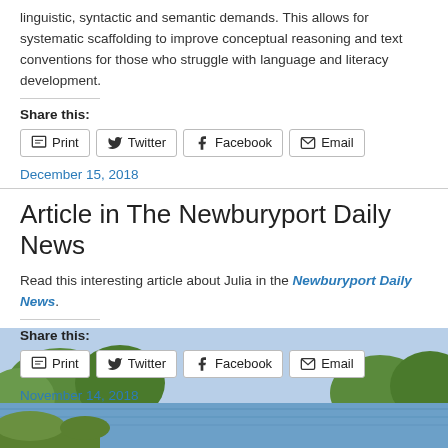linguistic, syntactic and semantic demands. This allows for systematic scaffolding to improve conceptual reasoning and text conventions for those who struggle with language and literacy development.
Share this:
Print  Twitter  Facebook  Email
December 15, 2018
Article in The Newburyport Daily News
Read this interesting article about Julia in the Newburyport Daily News.
Share this:
Print  Twitter  Facebook  Email
November 14, 2018